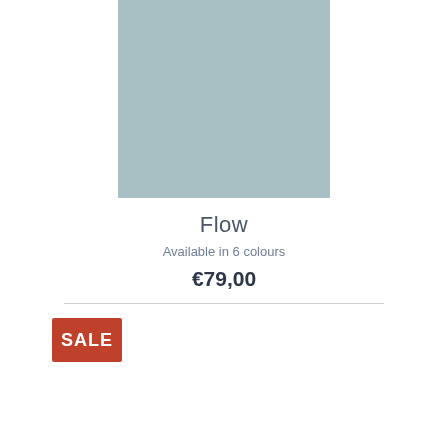[Figure (photo): Woman with long red hair wearing a dark grey jacket and a dark red/burgundy scarf, photographed against a light teal/grey background.]
Flow
Available in 6 colours
€79,00
SALE